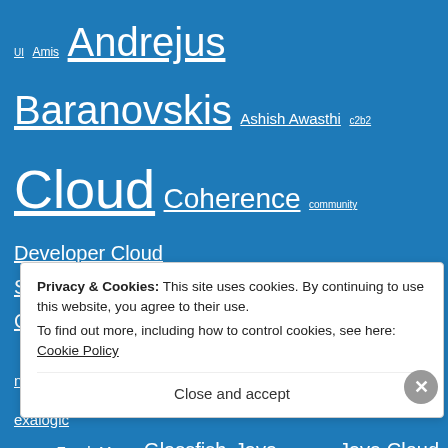[Figure (other): Tag cloud on blue background with terms: UI, Amis, Andrejus Baranovskis, Ashish Awasthi, c2b2, Cloud, Coherence, community, Developer Cloud Service, Developer Community, Developer Community newsletter, Docker, education, enablement, exalogic, Forms, Frank Munz, Glassfish, Java, java cloud, Java Cloud Service, JCS, JDeveloper, JET, Jürgen Kress, Lucas Jellema, MAF, marketing, MCS, Middleware Update, mobile, Mobile]
Privacy & Cookies: This site uses cookies. By continuing to use this website, you agree to their use.
To find out more, including how to control cookies, see here: Cookie Policy
Close and accept